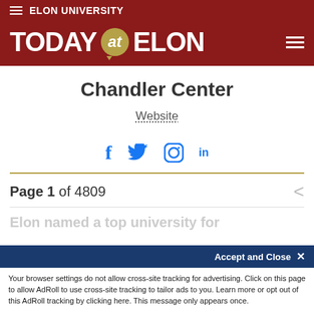ELON UNIVERSITY
[Figure (logo): Today at Elon logo with maroon background, gold speech bubble with 'at']
Chandler Center
Website
[Figure (infographic): Social media icons: Facebook, Twitter, Instagram, LinkedIn]
Page 1 of 4809
Elon named a top university for
Accept and Close ✕
Your browser settings do not allow cross-site tracking for advertising. Click on this page to allow AdRoll to use cross-site tracking to tailor ads to you. Learn more or opt out of this AdRoll tracking by clicking here. This message only appears once.